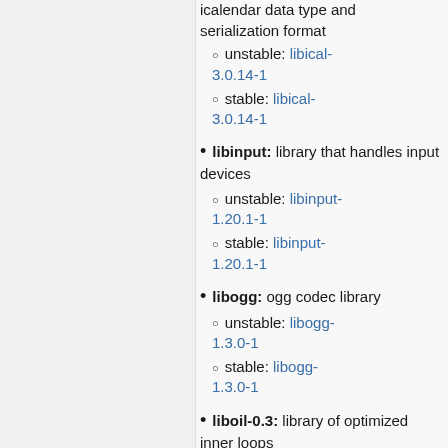icalendar data type and serialization format — unstable: libical-3.0.14-1, stable: libical-3.0.14-1
libinput: library that handles input devices — unstable: libinput-1.20.1-1, stable: libinput-1.20.1-1
libogg: ogg codec library — unstable: libogg-1.3.0-1, stable: libogg-1.3.0-1
liboil-0.3: library of optimized inner loops — unstable: liboil-0.3-0.3.14-2, stable: liboil-0.3-0.3.14-2